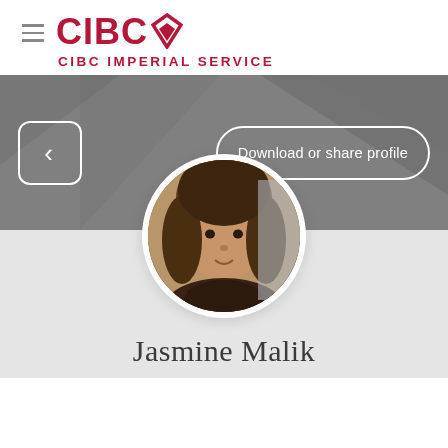CIBC
CIBC IMPERIAL SERVICE
[Figure (screenshot): CIBC banking app profile page with dark grey banner showing a back navigation button on the left and 'Download or share profile' button on the right. A circular profile photo of Jasmine Malik is centered below the banner.]
Jasmine Malik